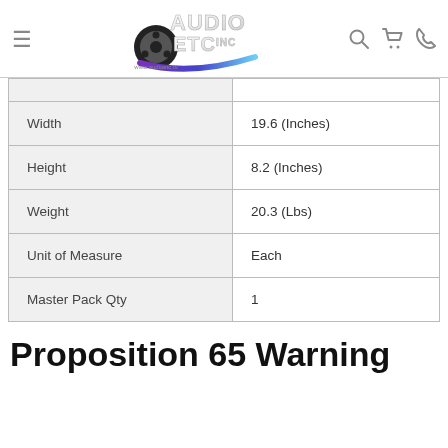[Figure (logo): Audio ETC Inc. logo with film reel and swoosh graphic, www.audioetc.tv]
| Width | 19.6 (Inches) |
| Height | 8.2 (Inches) |
| Weight | 20.3 (Lbs) |
| Unit of Measure | Each |
| Master Pack Qty | 1 |
Proposition 65 Warning